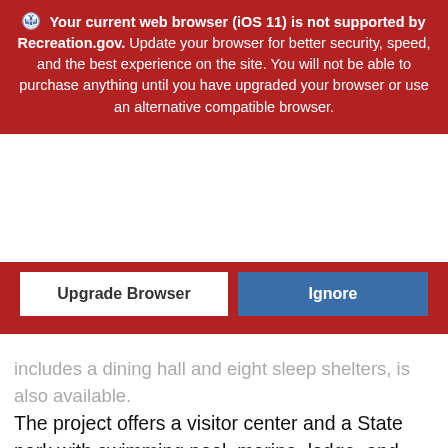🔘 Your current web browser (iOS 11) is not supported by Recreation.gov. Update your browser for better security, speed, and the best experience on the site. You will not be able to purchase anything until you have upgraded your browser or use an alternative compatible browser.
[Figure (screenshot): Two buttons: 'Upgrade Browser' (white) and 'Ignore' (blue) on red background]
includes a dining hall and eight sleep shelters, is also available. The project offers a visitor center and a State park with swimming pool, marina, lodge, and golf course.
[Figure (map): Map with zoom controls (+/-), location button, search field 'Location name or ZIP code', and Map/Satellite view toggle]